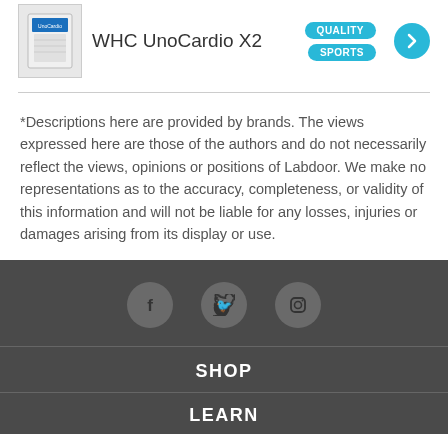[Figure (other): Product listing row: WHC UnoCardio X2 supplement box image, product name, QUALITY and SPORTS tags, and a cyan arrow button]
*Descriptions here are provided by brands. The views expressed here are those of the authors and do not necessarily reflect the views, opinions or positions of Labdoor. We make no representations as to the accuracy, completeness, or validity of this information and will not be liable for any losses, injuries or damages arising from its display or use.
[Figure (other): Footer with social media icons: Facebook, Twitter, Instagram on dark gray background]
SHOP
LEARN